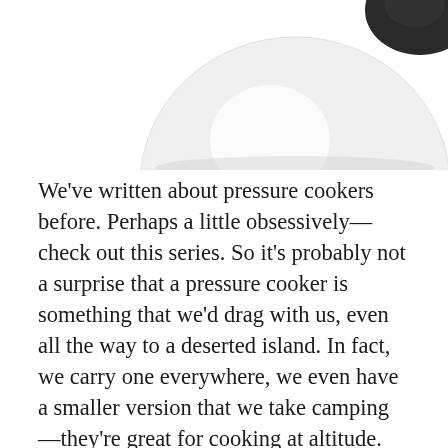[Figure (photo): Partial view of a white pressure cooker body and a black lid or handle, photographed from above on a white background.]
We've written about pressure cookers before. Perhaps a little obsessively—check out this series. So it's probably not a surprise that a pressure cooker is something that we'd drag with us, even all the way to a deserted island. In fact, we carry one everywhere, we even have a smaller version that we take camping—they're great for cooking at altitude. It's our go-to pot for everything from soup to chickpea curry. Because pressure-cookers are a